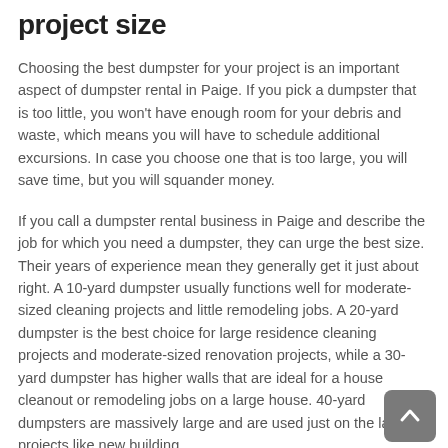project size
Choosing the best dumpster for your project is an important aspect of dumpster rental in Paige. If you pick a dumpster that is too little, you won't have enough room for your debris and waste, which means you will have to schedule additional excursions. In case you choose one that is too large, you will save time, but you will squander money.
If you call a dumpster rental business in Paige and describe the job for which you need a dumpster, they can urge the best size. Their years of experience mean they generally get it just about right. A 10-yard dumpster usually functions well for moderate-sized cleaning projects and little remodeling jobs. A 20-yard dumpster is the best choice for large residence cleaning projects and moderate-sized renovation projects, while a 30-yard dumpster has higher walls that are ideal for a house cleanout or remodeling jobs on a large house. 40-yard dumpsters are massively large and are used just on the largest projects like new building.